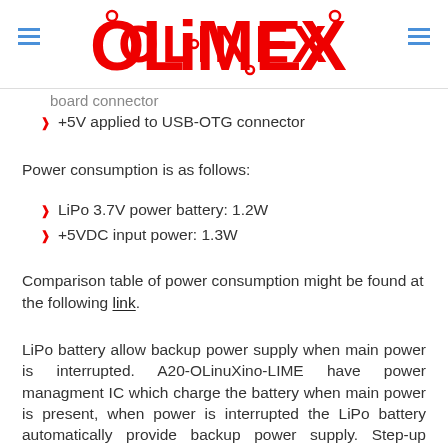OLIMEX
board connector
+5V applied to USB-OTG connector
Power consumption is as follows:
LiPo 3.7V power battery: 1.2W
+5VDC input power: 1.3W
Comparison table of power consumption might be found at the following link.
LiPo battery allow backup power supply when main power is interrupted. A20-OLinuXino-LIME have power managment IC which charge the battery when main power is present, when power is interrupted the LiPo battery automatically provide backup power supply. Step-up converter prvide 5V for the USB peripherials too. For LiPo batteries we recommend those: